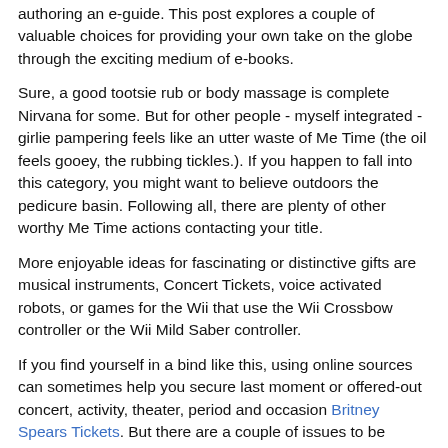authoring an e-guide. This post explores a couple of valuable choices for providing your own take on the globe through the exciting medium of e-books.
Sure, a good tootsie rub or body massage is complete Nirvana for some. But for other people - myself integrated - girlie pampering feels like an utter waste of Me Time (the oil feels gooey, the rubbing tickles.). If you happen to fall into this category, you might want to believe outdoors the pedicure basin. Following all, there are plenty of other worthy Me Time actions contacting your title.
More enjoyable ideas for fascinating or distinctive gifts are musical instruments, Concert Tickets, voice activated robots, or games for the Wii that use the Wii Crossbow controller or the Wii Mild Saber controller.
If you find yourself in a bind like this, using online sources can sometimes help you secure last moment or offered-out concert, activity, theater, period and occasion Britney Spears Tickets. But there are a couple of issues to be conscious of when buying offered-out or hard-to-discover tickets. Use the pointers below to save time and cash while guarding your self from ticket scams.
Balance is tough to explain without photos but I'll give it my very best shot. Think about the visual excess weight of an item when determining the placement of your accessory. To numerous